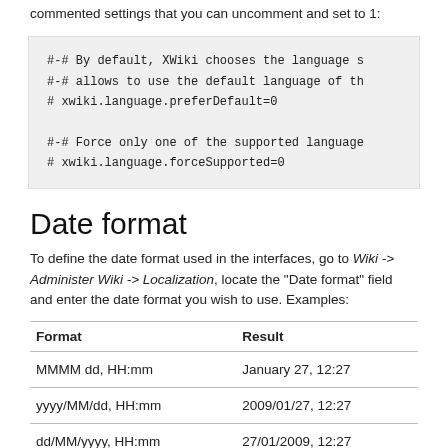commented settings that you can uncomment and set to 1:
#-# By default, XWiki chooses the language s
#-# allows to use the default language of th
# xwiki.language.preferDefault=0

#-# Force only one of the supported language
# xwiki.language.forceSupported=0
Date format
To define the date format used in the interfaces, go to Wiki -> Administer Wiki -> Localization, locate the "Date format" field and enter the date format you wish to use. Examples:
| Format | Result |
| --- | --- |
| MMMM dd, HH:mm | January 27, 12:27 |
| yyyy/MM/dd, HH:mm | 2009/01/27, 12:27 |
| dd/MM/yyyy, HH:mm | 27/01/2009, 12:27 |